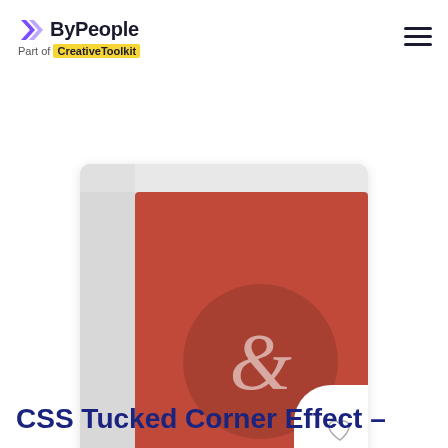ByPeople — Part of CreativeToolkit
[Figure (illustration): A card UI element with a red background featuring a circular emblem with an ampersand symbol, a folded corner effect in the top-left, and a heart icon badge in the bottom-right corner. The card sits on a light grey rounded rectangle background.]
CSS Tucked Corner Effect –